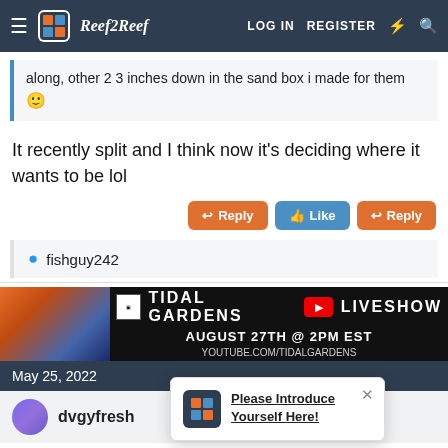Reef2Reef — LOG IN  REGISTER
along, other 2 3 inches down in the sand box i made for them 🙂
It recently split and I think now it's deciding where it wants to be lol
Reply  Like  Reply
fishguy242
[Figure (screenshot): Tidal Gardens YouTube Liveshow advertisement banner — August 27th @ 2PM EST youtube.com/tidalgardens]
May 25, 2022
dvgyfresh
Please Introduce Yourself Here!